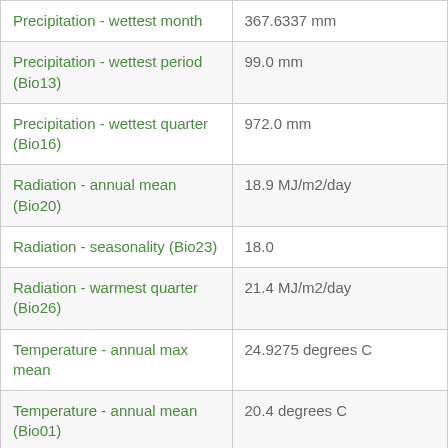| Variable | Value |
| --- | --- |
| Precipitation - wettest month | 367.6337 mm |
| Precipitation - wettest period (Bio13) | 99.0 mm |
| Precipitation - wettest quarter (Bio16) | 972.0 mm |
| Radiation - annual mean (Bio20) | 18.9 MJ/m2/day |
| Radiation - seasonality (Bio23) | 18.0 |
| Radiation - warmest quarter (Bio26) | 21.4 MJ/m2/day |
| Temperature - annual max mean | 24.9275 degrees C |
| Temperature - annual mean (Bio01) | 20.4 degrees C |
| Temperature - annual min mean | 15.391666 degrees C |
| Temperature - annual range | 17.744598 degrees C |